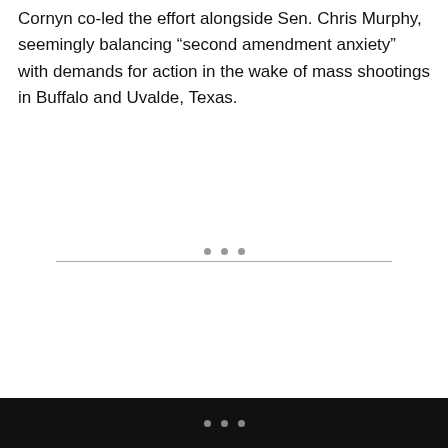Cornyn co-led the effort alongside Sen. Chris Murphy, seemingly balancing “second amendment anxiety” with demands for action in the wake of mass shootings in Buffalo and Uvalde, Texas.
• • •